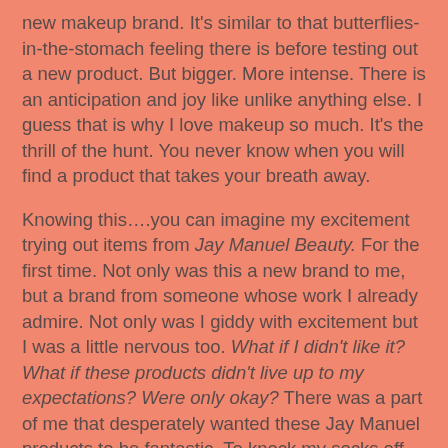new makeup brand. It's similar to that butterflies-in-the-stomach feeling there is before testing out a new product. But bigger. More intense. There is an anticipation and joy like unlike anything else. I guess that is why I love makeup so much. It's the thrill of the hunt. You never know when you will find a product that takes your breath away.
Knowing this….you can imagine my excitement trying out items from Jay Manuel Beauty. For the first time. Not only was this a new brand to me, but a brand from someone whose work I already admire. Not only was I giddy with excitement but I was a little nervous too. What if I didn't like it? What if these products didn't live up to my expectations? Were only okay? There was a part of me that desperately wanted these Jay Manuel products to be fantastic. To knock my socks off.
So, did they? Thankfully, they did. (It would be been a major disappointment if they hadn't, to be honest!) I had already fallen in love with the sleek packaging. And I wanted desperately for the makeup to meet that standard. High expectations? Sure. But hey – nothing wrong with that. Why